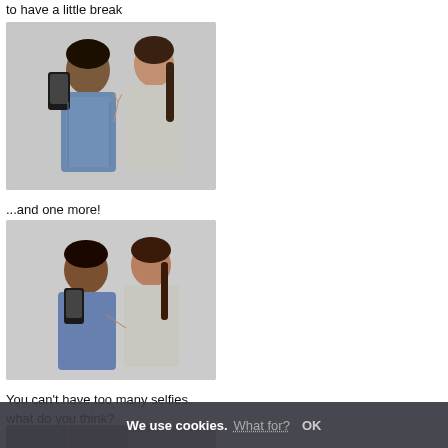to have a little break
[Figure (photo): Two young women taking a selfie with a smartphone, wearing denim jackets on a grey background]
...and one more!
[Figure (photo): Two young women taking a selfie with a smartphone, smiling, wearing denim jackets on a grey background]
You can't have too many selfies, what do you think?
[Figure (photo): Partial photo at bottom left showing women near lockers]
[Figure (photo): Two young women taking a selfie, one making a face, on a grey background]
...and one more!
[Figure (photo): Three young people in athletic wear interacting, on a grey background]
After training i'm feeling slightly strange
[Figure (photo): Partial photo at bottom right showing women]
We use cookies. What for? OK